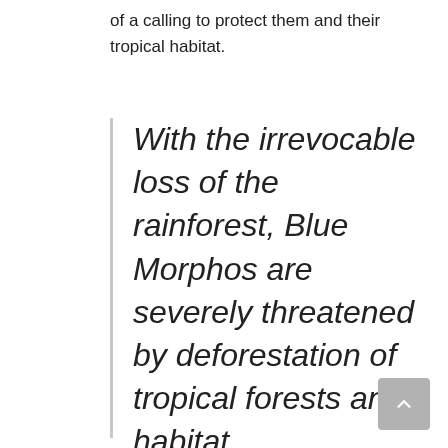of a calling to protect them and their tropical habitat.
With the irrevocable loss of the rainforest, Blue Morphos are severely threatened by deforestation of tropical forests and habitat fragmentation.